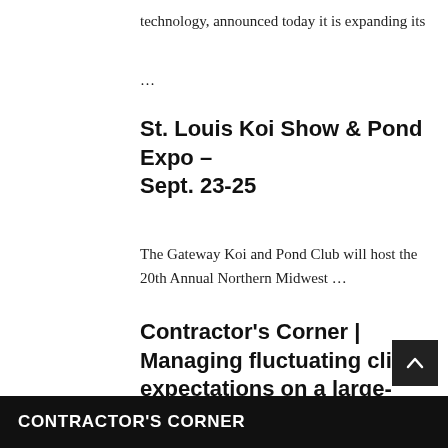technology, announced today it is expanding its
...
St. Louis Koi Show & Pond Expo – Sept. 23-25
The Gateway Koi and Pond Club will host the 20th Annual Northern Midwest ...
Contractor's Corner | Managing fluctuating client expectations on a large-scale pond build
Applying the Finishing Touches The client and his wife are a young couple ...
CONTRACTOR'S CORNER